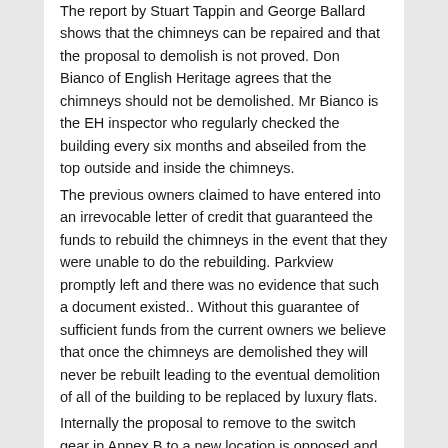The report by Stuart Tappin and George Ballard shows that the chimneys can be repaired and that the proposal to demolish is not proved. Don Bianco of English Heritage agrees that the chimneys should not be demolished. Mr Bianco is the EH inspector who regularly checked the building every six months and abseiled from the top outside and inside the chimneys.
The previous owners claimed to have entered into an irrevocable letter of credit that guaranteed the funds to rebuild the chimneys in the event that they were unable to do the rebuilding. Parkview promptly left and there was no evidence that such a document existed.. Without this guarantee of sufficient funds from the current owners we believe that once the chimneys are demolished they will never be rebuilt leading to the eventual demolition of all of the building to be replaced by luxury flats.
Internally the proposal to remove to the switch gear in Annex B to a new location is opposed and should be kept in the original location with Control Rooms A & B open free to the public.
It appears that the listed status of Grade II* is being